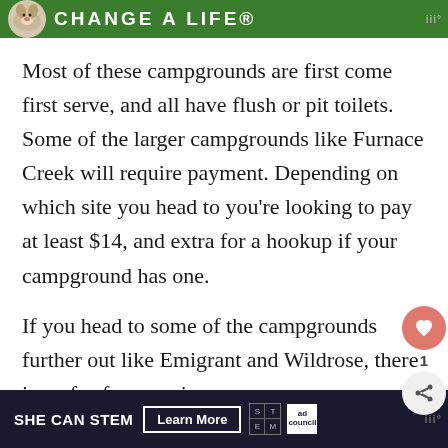[Figure (illustration): Green banner advertisement with a dog image and text 'CHANGE A LIFE' with Moat logo in top right corner]
Most of these campgrounds are first come first serve, and all have flush or pit toilets. Some of the larger campgrounds like Furnace Creek will require payment. Depending on which site you head to you're looking to pay at least $14, and extra for a hookup if your campground has one.
If you head to some of the campgrounds further out like Emigrant and Wildrose, there is no fee for camping.
[Figure (illustration): Dark navy bottom banner ad with 'SHE CAN STEM' text, 'Learn More' button, STEM logo grid, Ad Council logo, and Moat logo]